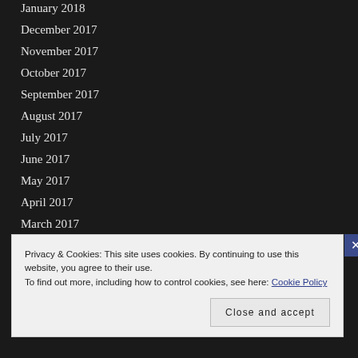January 2018
December 2017
November 2017
October 2017
September 2017
August 2017
July 2017
June 2017
May 2017
April 2017
March 2017
January 2017
December 2016
Privacy & Cookies: This site uses cookies. By continuing to use this website, you agree to their use. To find out more, including how to control cookies, see here: Cookie Policy
Close and accept